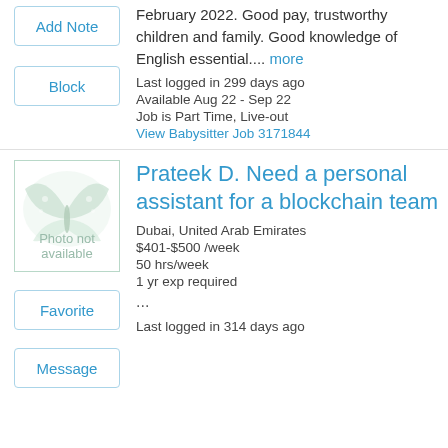February 2022. Good pay, trustworthy children and family. Good knowledge of English essential.... more
Last logged in 299 days ago
Available Aug 22 - Sep 22
Job is Part Time, Live-out
View Babysitter Job 3171844
[Figure (illustration): Placeholder image with butterfly watermark and text Photo not available]
Prateek D. Need a personal assistant for a blockchain team
Dubai, United Arab Emirates
$401-$500 /week
50 hrs/week
1 yr exp required
...
Last logged in 314 days ago